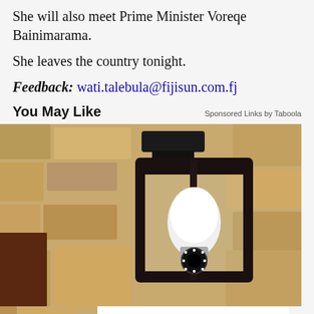She will also meet Prime Minister Voreqe Bainimarama.
She leaves the country tonight.
Feedback: wati.talebula@fijisun.com.fj
You May Like
Sponsored Links by Taboola
[Figure (photo): Outdoor wall lantern with a security camera bulb mounted on a textured stone/brick wall. The lantern has a dark metal frame with glass panels and a white camera-equipped bulb inside.]
Homeowners Are Trading In Their Doorbell Cams For This
Camerca | Sponsored